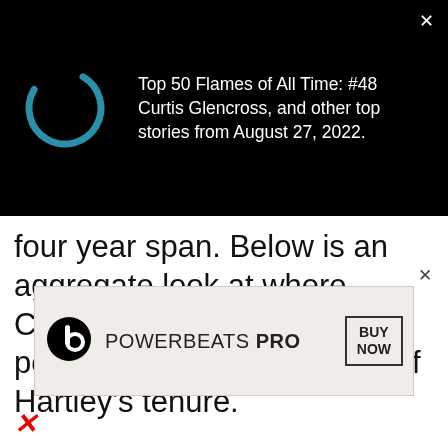[Figure (screenshot): Black notification bar with a teal loading spinner arc on the left and white text on the right reading 'Top 50 Flames of All Time: #48 Curtis Glencross, and other top stories from August 27, 2022.' with a close X button in the top right corner.]
four year span. Below is an aggregate look at where Calgary slotted in raw possession for the duration of Hartley's tenure.
ADVERTISEMENT - CONTINUE READING BELOW
[Figure (screenshot): Beats Powerbeats Pro advertisement banner with Beats logo, 'POWERBEATS PRO' text and a 'BUY NOW' button box on the right.]